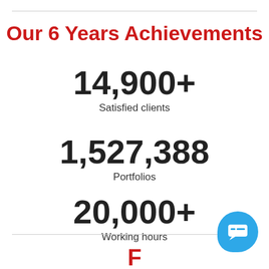Our 6 Years Achievements
14,900+
Satisfied clients
1,527,388
Portfolios
20,000+
Working hours